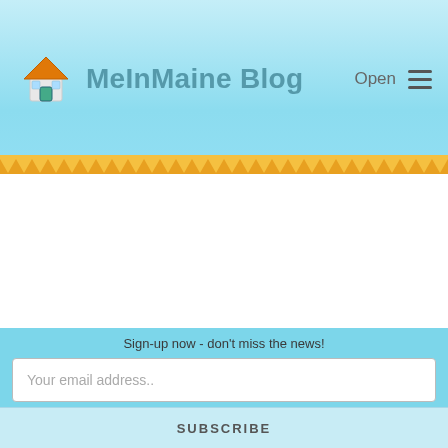MeInMaine Blog
[Figure (screenshot): Blog website screenshot with header, archives section, categories, and subscribe form]
Archives
Select Month
Categories
Sign-up now - don't miss the news!
Your email address..
SUBSCRIBE